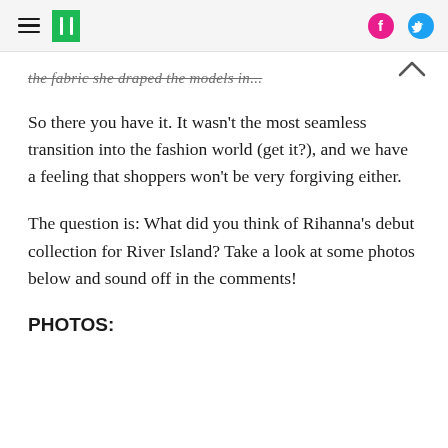HuffPost
the fabric she draped the models in...
So there you have it. It wasn't the most seamless transition into the fashion world (get it?), and we have a feeling that shoppers won't be very forgiving either.
The question is: What did you think of Rihanna's debut collection for River Island? Take a look at some photos below and sound off in the comments!
PHOTOS: